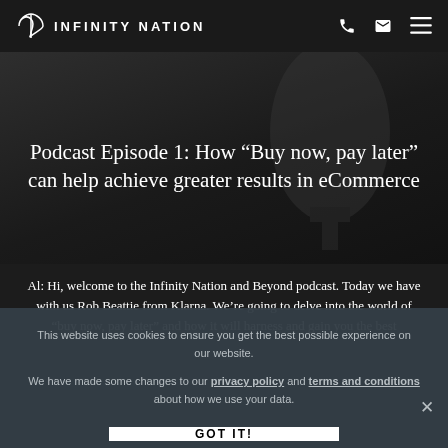INFINITY NATION
Podcast Episode 1: How “Buy now, pay later” can help achieve greater results in eCommerce
Al: Hi, welcome to the Infinity Nation and Beyond podcast. Today we have with us Rob Beattie from Klarna. We’re going to delve into the world of “buy now, pay later” and how it will harness and gain you the best
This website uses cookies to ensure you get the best possible experience on our website.
We have made some changes to our privacy policy and terms and conditions about how we use your data.
GOT IT!